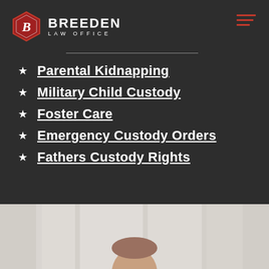BREEDEN LAW OFFICE
Parental Kidnapping
Military Child Custody
Foster Care
Emergency Custody Orders
Fathers Custody Rights
[Figure (photo): Bottom portion of page showing a light grey/beige background with the top of a person's head (attorney photo) visible at bottom center]